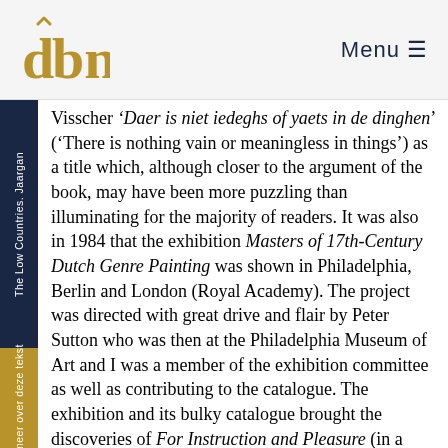dbnl | Menu
Visscher 'Daer is niet iedeghs of yaets in de dinghen' ('There is nothing vain or meaningless in things') as a title which, although closer to the argument of the book, may have been more puzzling than illuminating for the majority of readers. It was also in 1984 that the exhibition Masters of 17th-Century Dutch Genre Painting was shown in Philadelphia, Berlin and London (Royal Academy). The project was directed with great drive and flair by Peter Sutton who was then at the Philadelphia Museum of Art and I was a member of the exhibition committee as well as contributing to the catalogue. The exhibition and its bulky catalogue brought the discoveries of For Instruction and Pleasure (in a slightly modified form) to a wider, English-speaking audience as well as bringing to a mass public the achievement of Dutch genre painters. Vermeer and De Hooch